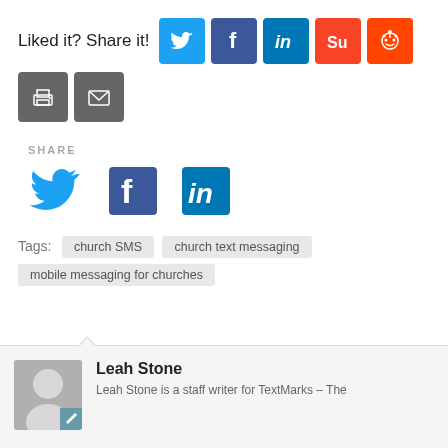Liked it? Share it!
[Figure (infographic): Row of social sharing icons: Twitter (blue bird), Facebook (dark blue f), LinkedIn (blue in), StumbleUpon (orange Su), Reddit (orange alien), plus print (grey) and email (grey) icons]
SHARE
[Figure (infographic): Social sharing icons (larger): Twitter bird (blue), Facebook f (dark blue), LinkedIn in (dark blue)]
Tags: church SMS  church text messaging  mobile messaging for churches
Leah Stone
Leah Stone is a staff writer for TextMarks – The